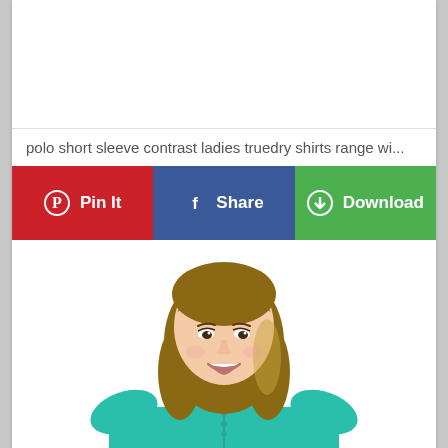[Figure (photo): Top white area of a product page screenshot]
polo short sleeve contrast ladies truedry shirts range wi...
Pin It | Share | Download
[Figure (photo): Woman wearing a teal/turquoise short sleeve polo shirt, smiling, with long brown hair]